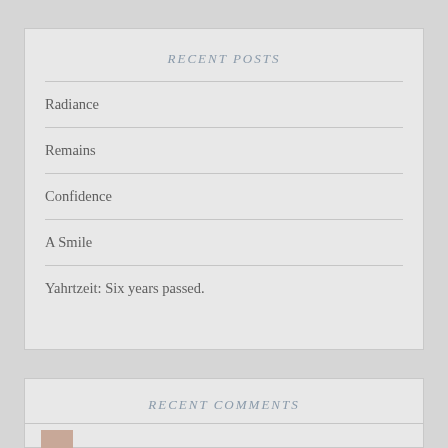RECENT POSTS
Radiance
Remains
Confidence
A Smile
Yahrtzeit: Six years passed.
RECENT COMMENTS
[Figure (photo): Small avatar thumbnail photo of a person]